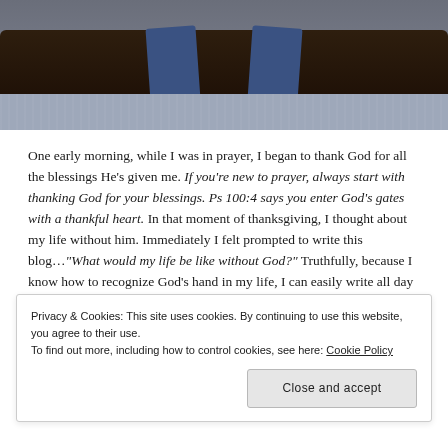[Figure (photo): Photo of two people sitting on a dark brown leather sofa with bare feet on a grey shag rug, cropped to show only lower body from waist down]
One early morning, while I was in prayer, I began to thank God for all the blessings He's given me. If you're new to prayer, always start with thanking God for your blessings. Ps 100:4 says you enter God's gates with a thankful heart. In that moment of thanksgiving, I thought about my life without him. Immediately I felt prompted to write this blog..."What would my life be like without God?" Truthfully, because I know how to recognize God's hand in my life, I can easily write all day what He has saved me from,
Privacy & Cookies: This site uses cookies. By continuing to use this website, you agree to their use.
To find out more, including how to control cookies, see here: Cookie Policy
Close and accept